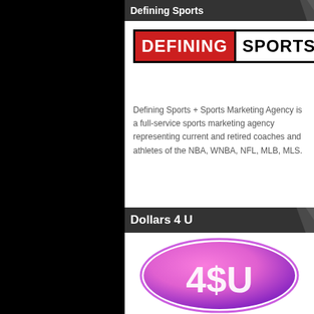Defining Sports
[Figure (logo): Defining Sports logo: 'DEFINING' in white bold text on red background, 'SPORTS' in black bold text on white background with black border]
Defining Sports + Sports Marketing Agency is a full-service sports marketing agency representing current and retired coaches and athletes of the NBA, WNBA, NFL, MLB, MLS.
Dollars 4 U
[Figure (logo): Dollars 4 U logo: pink-to-purple gradient ellipse with '4$U' text in white]